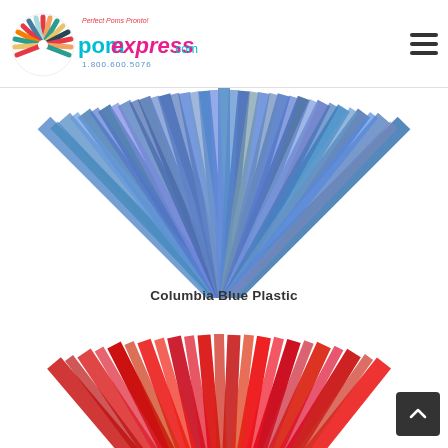[Figure (logo): PomExpress.com logo with colorful pom graphic, tagline 'Perfect Poms Pronto!' and phone number 1.800.600.5076]
[Figure (photo): A Columbia Blue plastic cheerleading pom-pom spread out in a fan shape against white background]
Columbia Blue Plastic
[Figure (photo): A red plastic cheerleading pom-pom partially visible at bottom of page, spread out in a fan shape against white background]